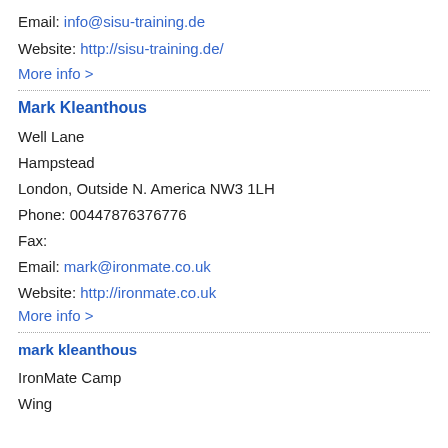Email: info@sisu-training.de
Website: http://sisu-training.de/
More info >
Mark Kleanthous
Well Lane
Hampstead
London, Outside N. America NW3 1LH
Phone: 00447876376776
Fax:
Email: mark@ironmate.co.uk
Website: http://ironmate.co.uk
More info >
mark kleanthous
IronMate Camp
Wing